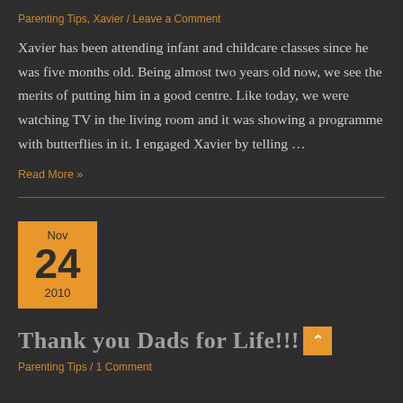Parenting Tips, Xavier / Leave a Comment
Xavier has been attending infant and childcare classes since he was five months old. Being almost two years old now, we see the merits of putting him in a good centre. Like today, we were watching TV in the living room and it was showing a programme with butterflies in it. I engaged Xavier by telling …
Read More »
Nov 24 2010
Thank you Dads for Life!!!
Parenting Tips / 1 Comment